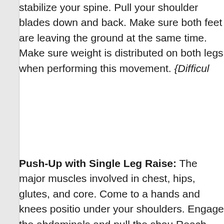stabilize your spine. Pull your shoulder blades down and back. Make sure both feet are leaving the ground at the same time. Make sure weight is distributed on both legs when performing this movement. {Difficul...
Push-Up with Single Leg Raise: The major muscles involved in... chest, hips, glutes, and core. Come to a hands and knees position under your shoulders. Engage the abdominals and pull the shou... Reach one leg out while maintaining plank position. Slowly bend body toward the floor. Keep the torso rigid, abdominals engaged...